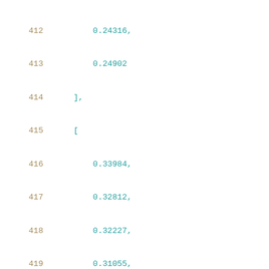412    0.24316,
413    0.24902
414 ],
415 [
416    0.33984,
417    0.32812,
418    0.32227,
419    0.31055,
420    0.30469,
421    0.29883,
422    0.29883,
423    0.29883,
424    0.30469,
425    0.31055
426 ],
427 [
428    0.38672,
429    0.375,
430    0.36914,
431    0.35156,
432    0.3457,
433    ...